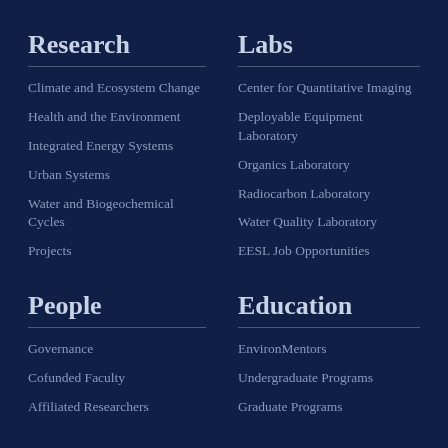Research
Climate and Ecosystem Change
Health and the Environment
Integrated Energy Systems
Urban Systems
Water and Biogeochemical Cycles
Projects
Labs
Center for Quantitative Imaging
Deployable Equipment Laboratory
Organics Laboratory
Radiocarbon Laboratory
Water Quality Laboratory
EESL Job Opportunities
People
Governance
Cofunded Faculty
Affiliated Researchers
Education
EnvironMentors
Undergraduate Programs
Graduate Programs